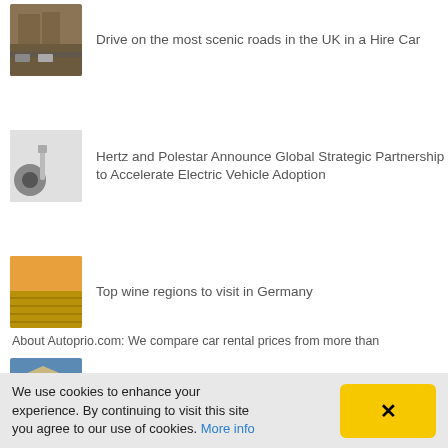Drive on the most scenic roads in the UK in a Hire Car
Hertz and Polestar Announce Global Strategic Partnership to Accelerate Electric Vehicle Adoption
Top wine regions to visit in Germany
5 Reasons Why You Should Go To Greece
About Autoprio.com: We compare car rental prices from more than
We use cookies to enhance your experience. By continuing to visit this site you agree to our use of cookies. More info